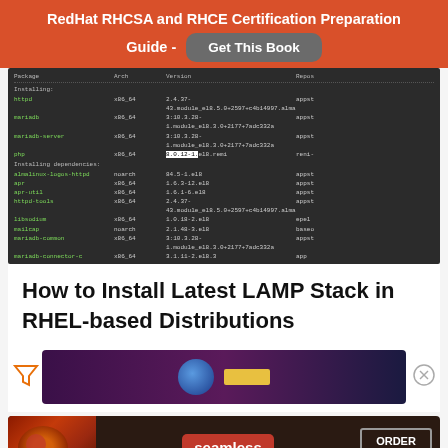RedHat RHCSA and RHCE Certification Preparation Guide - Get This Book
[Figure (screenshot): Terminal output showing package installation of httpd, mariadb, mariadb-server, php and dependencies on RHEL-based system]
How to Install Latest LAMP Stack in RHEL-based Distributions
[Figure (infographic): Advertisement strip with filter icon and close button]
[Figure (infographic): Seamless food ordering advertisement with pizza image, seamless logo, and ORDER NOW button]